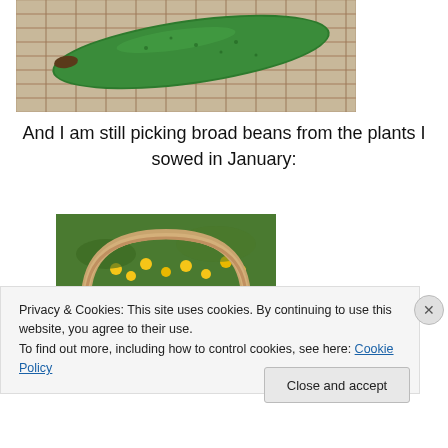[Figure (photo): Close-up photo of a large green zucchini/courgette resting in a wicker basket]
And I am still picking broad beans from the plants I sowed in January:
[Figure (photo): Photo of a wicker basket in a garden with yellow flowers and green plants in the background]
Privacy & Cookies: This site uses cookies. By continuing to use this website, you agree to their use.
To find out more, including how to control cookies, see here: Cookie Policy